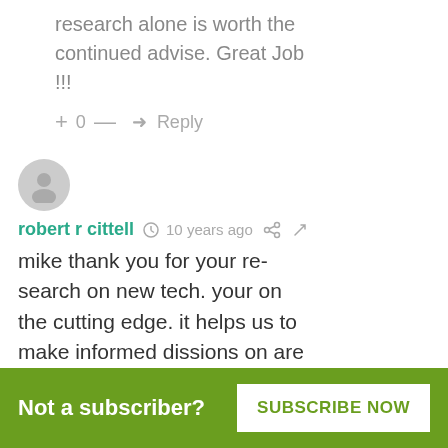research alone is worth the continued advise. Great Job !!!
+ 0 — Reply
[Figure (illustration): User avatar circle with person silhouette icon]
robert r cittell  10 years ago
mike thank you for your research on new tech. your on the cutting edge. it helps us to make informed dissions on are investments.appreciate your excellence in writting this
Not a subscriber?  SUBSCRIBE NOW